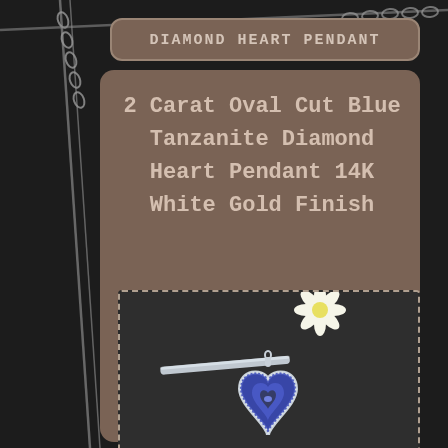DIAMOND HEART PENDANT
2 Carat Oval Cut Blue Tanzanite Diamond Heart Pendant 14K White Gold Finish
[Figure (photo): Photograph of a 2 Carat Oval Cut Blue Tanzanite Diamond Heart Pendant with 14K White Gold Finish, displayed on a dark surface with a white daisy flower in the background.]